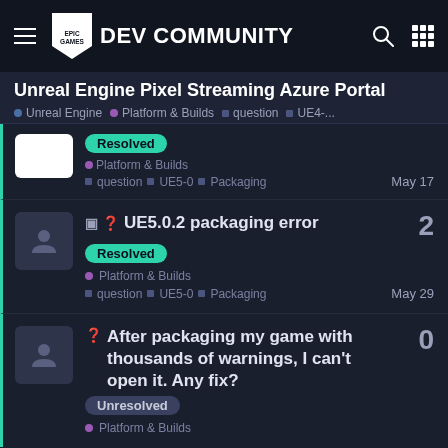Epic Games DEV COMMUNITY
Unreal Engine Pixel Streaming Azure Portal
Unreal Engine  Platform & Builds  question  UE4-...
Resolved | Platform & Builds | question | UE5-0 | Packaging | May 17
UE5.0.2 packaging error | Resolved | Platform & Builds | question | UE5-0 | Packaging | May 29 | 2 replies
After packaging my game with thousands of warnings, I can't open it. Any fix? | Unresolved | Platform & Builds | 0 replies